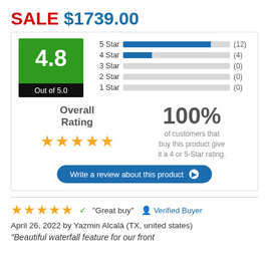SALE $1739.00
[Figure (bar-chart): Rating Distribution]
Overall Rating
100% of customers that buy this product give it a 4 or 5-Star rating.
Write a review about this product ▶
★★★★★ ✓ "Great buy" 👤 Verified Buyer
April 26, 2022 by Yazmin Alcalá (TX, united states)
"Beautiful waterfall feature for our front